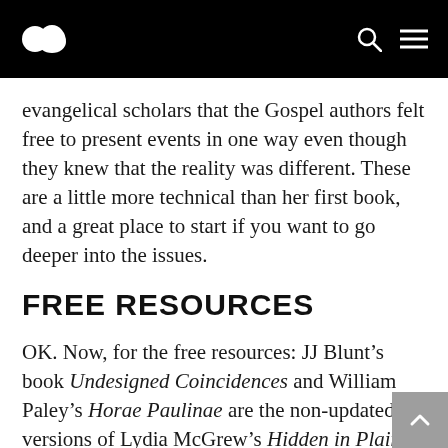[Site logo with navigation icons]
evangelical scholars that the Gospel authors felt free to present events in one way even though they knew that the reality was different. These are a little more technical than her first book, and a great place to start if you want to go deeper into the issues.
FREE RESOURCES
OK. Now, for the free resources: JJ Blunt’s book Undesigned Coincidences and William Paley’s Horae Paulinae are the non-updated versions of Lydia McGrew’s Hidden in Plain View. I still recommend you get Lydia’s book,